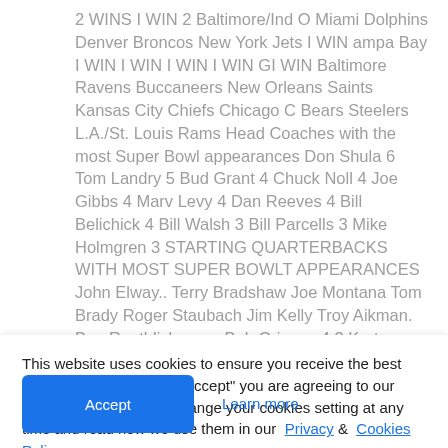2 WINS I WIN 2 Baltimore/Ind O Miami Dolphins Denver Broncos New York Jets I WIN ampa Bay I WIN I WIN I WIN I WIN GI WIN Baltimore Ravens Buccaneers New Orleans Saints Kansas City Chiefs Chicago C Bears Steelers L.A./St. Louis Rams Head Coaches with the most Super Bowl appearances Don Shula 6 Tom Landry 5 Bud Grant 4 Chuck Noll 4 Joe Gibbs 4 Marv Levy 4 Dan Reeves 4 Bill Belichick 4 Bill Walsh 3 Bill Parcells 3 Mike Holmgren 3 STARTING QUARTERBACKS WITH MOST SUPER BOWLT APPEARANCES John Elway.. Terry Bradshaw Joe Montana Tom Brady Roger Staubach Jim Kelly Troy Aikman. Ben Roethlisberger. Bob Griese.. 4 3 Kurt Warner... Fran Tarkenton. QUARTERBACKS WITH MOST PASSING YARDS IN THE SUPER BOWL
This website uses cookies to ensure you receive the best experience. By clicking "Accept" you are agreeing to our cookie policy. You can change your cookies setting at any time and read how we use them in our Privacy & Cookies Policy.
Accept
Learn more